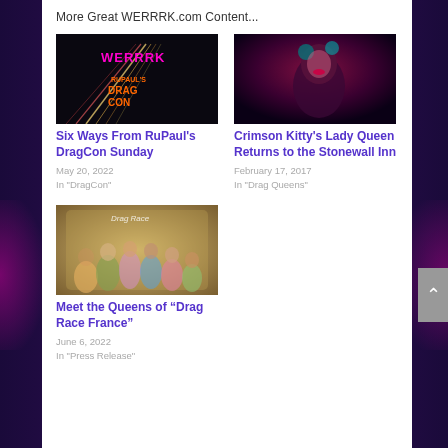More Great WERRRK.com Content...
[Figure (photo): WERRRK DragCon promotional image with colorful light trails and WERRRK/DragCon logo text overlay]
Six Ways From RuPaul's DragCon Sunday
May 20, 2022
In "DragCon"
[Figure (photo): Crimson Kitty - drag queen portrait with dramatic makeup, teal hair accessories, dark background]
Crimson Kitty's Lady Queen Returns to the Stonewall Inn
February 17, 2017
In "Drag Queens"
[Figure (photo): Group photo of queens posing for Drag Race France, ornate interior setting]
Meet the Queens of “Drag Race France”
June 6, 2022
In "Press Release"